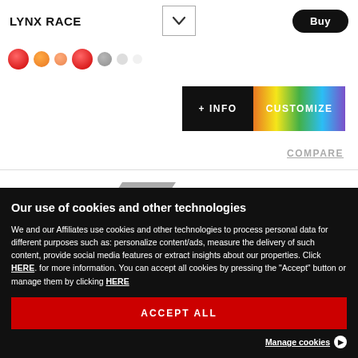LYNX RACE
+ INFO
CUSTOMIZE
COMPARE
Our use of cookies and other technologies
We and our Affiliates use cookies and other technologies to process personal data for different purposes such as: personalize content/ads, measure the delivery of such content, provide social media features or extract insights about our properties. Click HERE. for more information. You can accept all cookies by pressing the "Accept" button or manage them by clicking HERE
ACCEPT ALL
Manage cookies